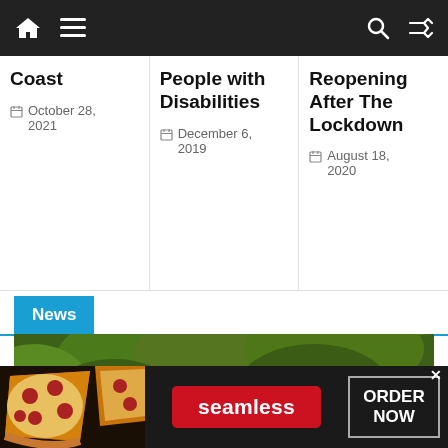Navigation bar with home, menu, search, and shuffle icons
Coast
October 28, 2021
People with Disabilities
December 6, 2019
Reopening After The Lockdown
August 18, 2020
News
[Figure (photo): Police officers with a person near police vehicles and lush green vegetation in the background]
[Figure (infographic): Seamless food delivery advertisement banner with pizza image, red Seamless logo button, and ORDER NOW button]